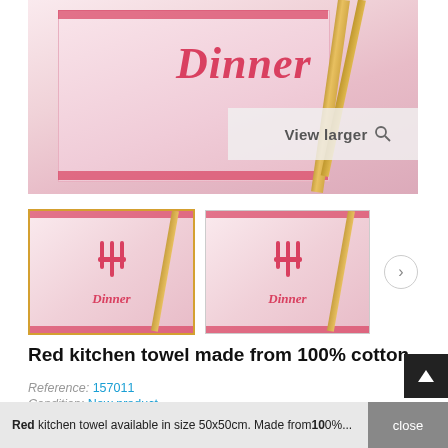[Figure (photo): Main product image of a pink kitchen towel with 'Dinner' text and cutlery design, with a 'View larger' overlay button]
[Figure (photo): Two thumbnail images of the red/pink kitchen towel with 'Dinner' text and cutlery design]
Red kitchen towel made from 100% cotton
Reference: 157011
Condition: New product
1,55 € tax incl.
Red kitchen towel available in size 50x50cm. Made from 10...